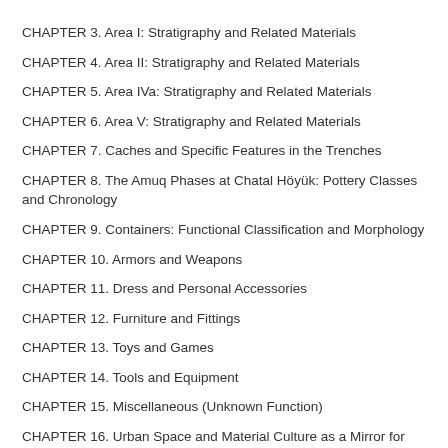CHAPTER 3. Area I: Stratigraphy and Related Materials
CHAPTER 4. Area II: Stratigraphy and Related Materials
CHAPTER 5. Area IVa: Stratigraphy and Related Materials
CHAPTER 6. Area V: Stratigraphy and Related Materials
CHAPTER 7. Caches and Specific Features in the Trenches
CHAPTER 8. The Amuq Phases at Chatal Höyük: Pottery Classes and Chronology
CHAPTER 9. Containers: Functional Classification and Morphology
CHAPTER 10. Armors and Weapons
CHAPTER 11. Dress and Personal Accessories
CHAPTER 12. Furniture and Fittings
CHAPTER 13. Toys and Games
CHAPTER 14. Tools and Equipment
CHAPTER 15. Miscellaneous (Unknown Function)
CHAPTER 16. Urban Space and Material Culture as a Mirror for